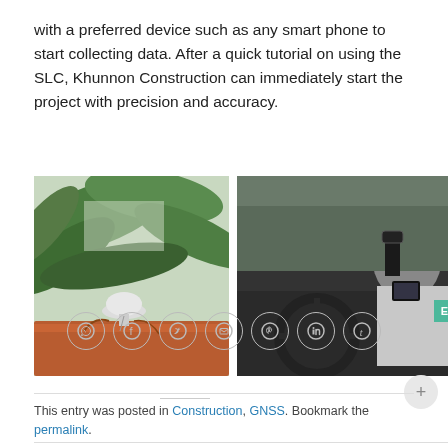with a preferred device such as any smart phone to start collecting data. After a quick tutorial on using the SLC, Khunnon Construction can immediately start the project with precision and accuracy.
[Figure (photo): Left photo: GPS/GNSS antenna mounted on top of a vehicle roof surrounded by tropical banana tree leaves and foliage.]
[Figure (photo): Right photo: Interior view of a vehicle with a person leaning over the steering wheel, a GPS device mounted on the dashboard visible.]
This entry was posted in Construction, GNSS. Bookmark the permalink.